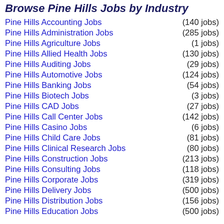Browse Pine Hills Jobs by Industry
Pine Hills Accounting Jobs (140 jobs)
Pine Hills Administration Jobs (285 jobs)
Pine Hills Agriculture Jobs (1 jobs)
Pine Hills Allied Health Jobs (130 jobs)
Pine Hills Auditing Jobs (29 jobs)
Pine Hills Automotive Jobs (124 jobs)
Pine Hills Banking Jobs (54 jobs)
Pine Hills Biotech Jobs (3 jobs)
Pine Hills CAD Jobs (27 jobs)
Pine Hills Call Center Jobs (142 jobs)
Pine Hills Casino Jobs (6 jobs)
Pine Hills Child Care Jobs (81 jobs)
Pine Hills Clinical Research Jobs (80 jobs)
Pine Hills Construction Jobs (213 jobs)
Pine Hills Consulting Jobs (118 jobs)
Pine Hills Corporate Jobs (319 jobs)
Pine Hills Delivery Jobs (500 jobs)
Pine Hills Distribution Jobs (156 jobs)
Pine Hills Education Jobs (500 jobs)